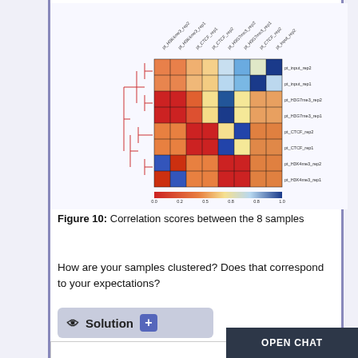[Figure (other): Heatmap showing correlation scores between 8 ChIP-seq samples (pt_input_rep1, pt_input_rep2, pt_H3G7me3_rep1, pt_H3G7me3_rep2, pt_CTCF_rep1, pt_CTCF_rep2, pt_H3K4me3_rep1, pt_H3K4me3_rep2) with hierarchical clustering dendrogram on the left side. Color scale from dark red (0.0) through orange/yellow/light blue to dark blue (1.0).]
Figure 10: Correlation scores between the 8 samples
How are your samples clustered? Does that correspond to your expectations?
Solution +